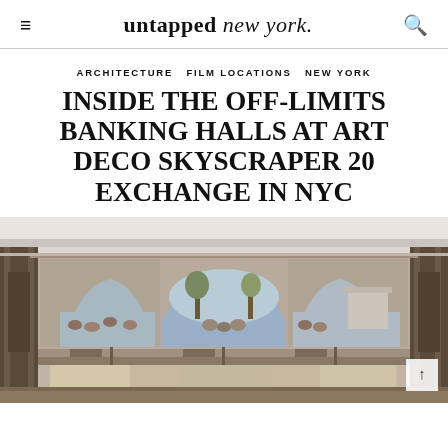untapped new york.
ARCHITECTURE   FILM LOCATIONS   NEW YORK
INSIDE THE OFF-LIMITS BANKING HALLS AT ART DECO SKYSCRAPER 20 EXCHANGE IN NYC
[Figure (photo): Interior photo of the off-limits banking hall at 20 Exchange Place, an Art Deco skyscraper in NYC. The hall features ornate murals depicting historical scenes in arched panels on the upper wall, flanked by dark marble columns. Below the murals are counters and teller windows. A scroll/arrow button is visible at the bottom right.]